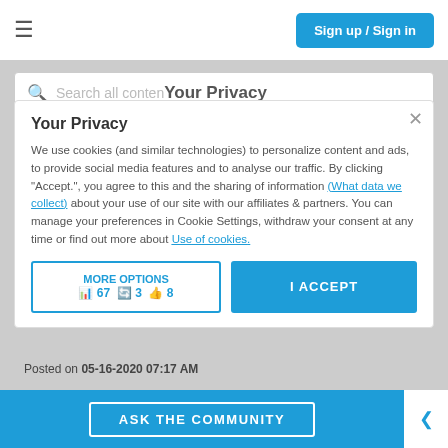Sign up / Sign in
Search all content
Your Privacy
We use cookies (and similar technologies) to personalize content and ads, to provide social media features and to analyse our traffic. By clicking "Accept.", you agree to this and the sharing of information (What data we collect) about your use of our site with our affiliates & partners. You can manage your preferences in Cookie Settings, withdraw your consent at any time or find out more about Use of cookies.
I HAVE THE SAME QUESTION
1 REPLY
RricharoB
Level 3
MORE OPTIONS  67  3  8
I ACCEPT
Posted on 05-16-2020 07:17 AM
Dear Anant3 (Anthane?)
ASK THE COMMUNITY